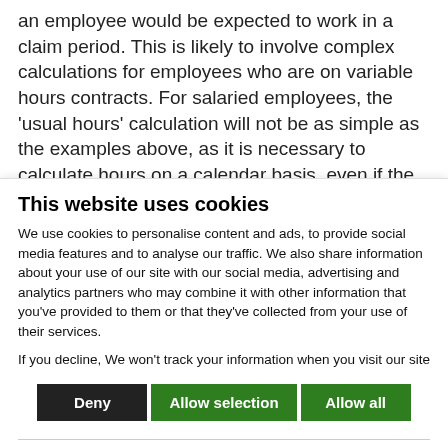an employee would be expected to work in a claim period. This is likely to involve complex calculations for employees who are on variable hours contracts. For salaried employees, the 'usual hours' calculation will not be as simple as the examples above, as it is necessary to calculate hours on a calendar basis, even if the employee simply works standard hours from Monday to Friday. This can result in small differences
This website uses cookies
We use cookies to personalise content and ads, to provide social media features and to analyse our traffic. We also share information about your use of our site with our social media, advertising and analytics partners who may combine it with other information that you've provided to them or that they've collected from your use of their services.
If you decline, We won't track your information when you visit our site